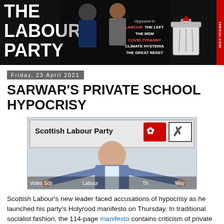[Figure (illustration): The Labour Party website header banner with black background, stylized white text 'THE LABOUR PARTY', photos of politicians, trash bin icon, opposition list text, and red domain label 'labour.com']
Friday, 23 April 2021
SARWAR'S PRIVATE SCHOOL HYPOCRISY
[Figure (photo): Anas Sarwar standing with arms outstretched in front of a Scottish Labour Party sign with logo and ballot box X mark. Text at bottom reads 'Votes Sco... Labour... Th... May']
Scottish Labour's new leader faced accusations of hypocrisy as he launched his party's Holyrood manifesto on Thursday. In traditional socialist fashion, the 114-page manifesto contains criticism of private schools, stating: "Scottish Labour will end all public support for fee-paying private i